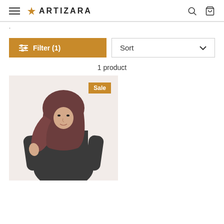ARTIZARA
.
Filter (1)
Sort
1 product
[Figure (photo): A woman wearing a dark brownish-maroon hijab and dark outfit, shown from the waist up against a light background. A 'Sale' badge is shown in the top right of the product card.]